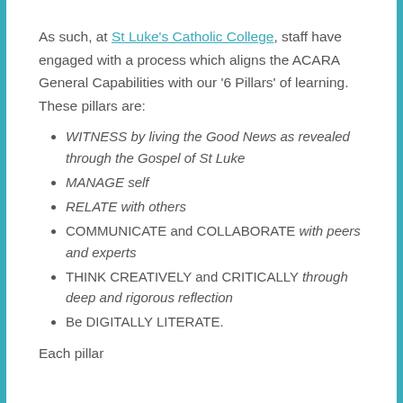As such, at St Luke's Catholic College, staff have engaged with a process which aligns the ACARA General Capabilities with our '6 Pillars' of learning. These pillars are:
WITNESS by living the Good News as revealed through the Gospel of St Luke
MANAGE self
RELATE with others
COMMUNICATE and COLLABORATE with peers and experts
THINK CREATIVELY and CRITICALLY through deep and rigorous reflection
Be DIGITALLY LITERATE.
Each pillar